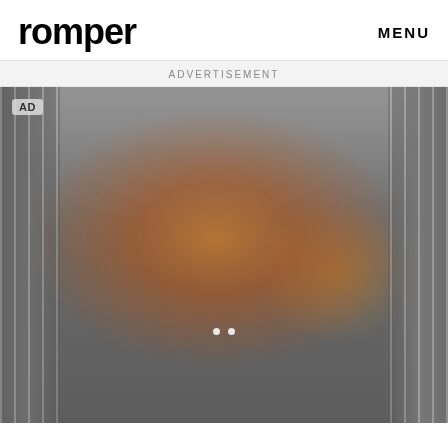romper  MENU
ADVERTISEMENT
[Figure (photo): An aerial or overhead view of a street scene showing a large fire or explosion with orange/red flames and smoke rising between tall urban buildings. The image is blurry and heavily obscured by haze. Two small white dots are visible in the lower center. An 'AD' badge appears in the upper left corner of the image.]